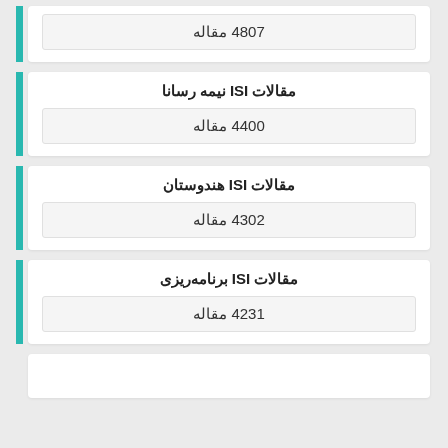4807 مقاله
مقالات ISI نیمه رسانا
4400 مقاله
مقالات ISI هندوستان
4302 مقاله
مقالات ISI برنامه‌ریزی
4231 مقاله